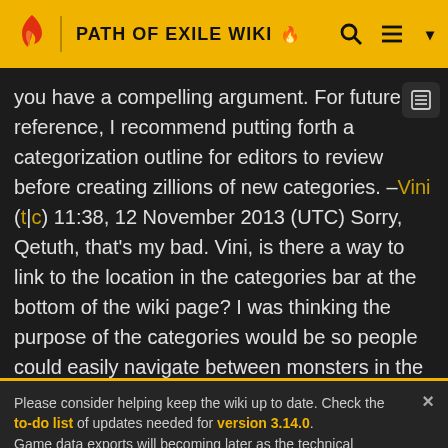PATH OF EXILE WIKI
you have a compelling argument. For future reference, I recommend putting forth a categorization outline for editors to review before creating zillions of new categories. –Vini (t|c) 11:38, 12 November 2013 (UTC) Sorry, Qetuth, that's my bad. Vini, is there a way to link to the location in the categories bar at the bottom of the wiki page? I was thinking the purpose of the categories would be so people could easily navigate between monsters in the same area. "Those discharging undying are nasty! I wonder if I ever have to deal with them
Please consider helping keep the wiki up to date. Check the to-do list of updates needed for version 3.14.0. Game data exports will becoming later as the technical changes in addition to regular changes take some more time.